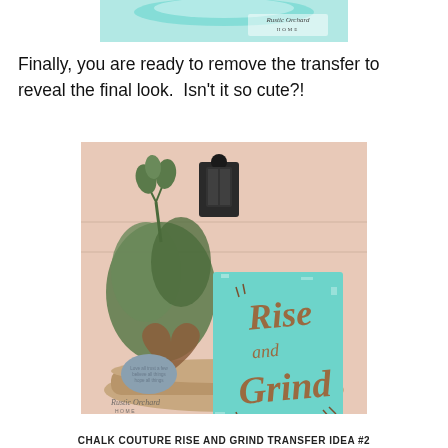[Figure (photo): Partial top image showing a teal/turquoise painted surface with Rustic Orchard Home watermark logo]
Finally, you are ready to remove the transfer to reveal the final look.  Isn't it so cute?!
[Figure (photo): Photo of a teal painted wood sign reading 'Rise and Grind' in copper/brown lettering, styled with greenery, a heart-shaped wooden object, a stone, and a lantern on a round wood tray. Rustic Orchard Home watermark visible.]
CHALK COUTURE RISE AND GRIND TRANSFER IDEA #2